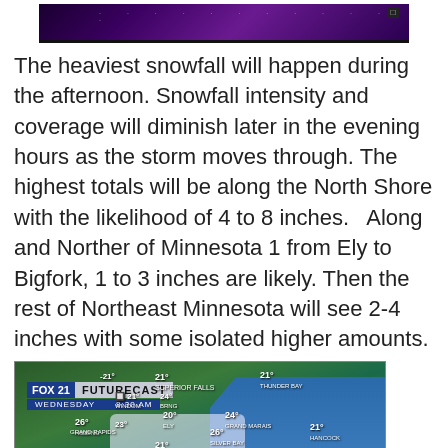[Figure (screenshot): Top portion of a weather broadcast screenshot with purple/dark background]
The heaviest snowfall will happen during the afternoon. Snowfall intensity and coverage will diminish later in the evening hours as the storm moves through. The highest totals will be along the North Shore with the likelihood of 4 to 8 inches.   Along and Norther of Minnesota 1 from Ely to Bigfork, 1 to 3 inches are likely. Then the rest of Northeast Minnesota will see 2-4 inches with some isolated higher amounts.
[Figure (screenshot): FOX 21 Futurecast weather map showing temperatures across Northeast Minnesota and surrounding area on Wednesday at 8:30 AM. Various temperature readings visible including 21°, 24°, 26°, 22°, 19°, 20°, 27°, 23°, 21° at locations including Thunder Bay, Grand Marais, Silver Bay, Hancock, Ashland, Ironwood, Superior, Hayward, Rhinelander, Duluth, Ely, and others. Snow coverage visible over parts of Minnesota.]